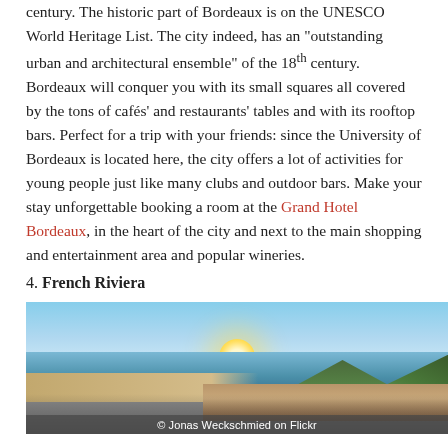century. The historic part of Bordeaux is on the UNESCO World Heritage List. The city indeed, has an "outstanding urban and architectural ensemble" of the 18th century. Bordeaux will conquer you with its small squares all covered by the tons of cafés' and restaurants' tables and with its rooftop bars. Perfect for a trip with your friends: since the University of Bordeaux is located here, the city offers a lot of activities for young people just like many clubs and outdoor bars. Make your stay unforgettable booking a room at the Grand Hotel Bordeaux, in the heart of the city and next to the main shopping and entertainment area and popular wineries.
4. French Riviera
[Figure (photo): Aerial/elevated coastal panorama of the French Riviera at sunset, showing a curved beach on the left, deep blue sea, a dense city with warm-toned buildings on the right, and green hills in the background.]
© Jonas Weckschmied on Flickr